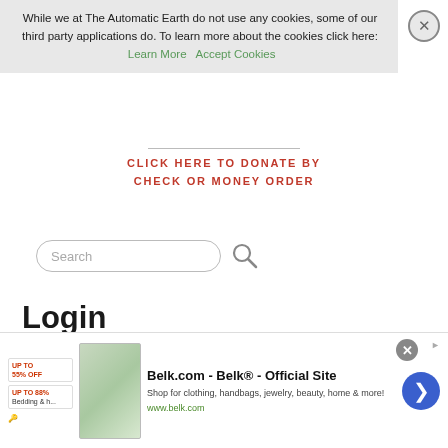While we at The Automatic Earth do not use any cookies, some of our third party applications do. To learn more about the cookies click here: Learn More  Accept Cookies
CLICK HERE TO DONATE BY CHECK OR MONEY ORDER
[Figure (screenshot): Search input box with placeholder text 'Search' and a magnifying glass search icon]
Login (required to post)
Username:
[Figure (screenshot): Advertisement banner for Belk.com - Belk® - Official Site. Shop for clothing, handbags, jewelry, beauty, home & more! www.belk.com]